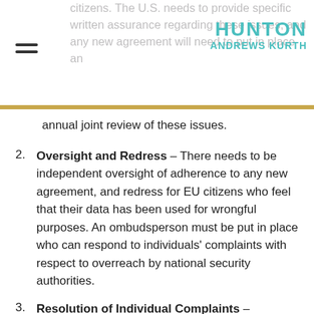citizens. The U.S. needs to provide specific written assurance regarding these issues, and any new agreement will need to put in place an
annual joint review of these issues.
Oversight and Redress – There needs to be independent oversight of adherence to any new agreement, and redress for EU citizens who feel that their data has been used for wrongful purposes. An ombudsperson must be put in place who can respond to individuals' complaints with respect to overreach by national security authorities.
Resolution of Individual Complaints – Companies should resolve individuals' complaints regarding potential privacy violations. If a company cannot resolve the